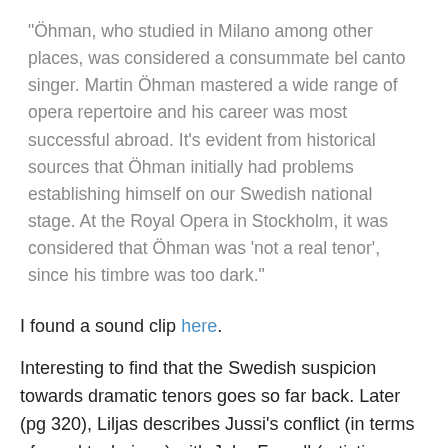"Öhman, who studied in Milano among other places, was considered a consummate bel canto singer. Martin Öhman mastered a wide range of opera repertoire and his career was most successful abroad. It's evident from historical sources that Öhman initially had problems establishing himself on our Swedish national stage. At the Royal Opera in Stockholm, it was considered that Öhman was 'not a real tenor', since his timbre was too dark."
I found a sound clip here.
Interesting to find that the Swedish suspicion towards dramatic tenors goes so far back. Later (pg 320), Liljas describes Jussi's conflict (in terms of vocal technique) with John Forsell (artistic director of the Royal Opera) as representative of the struggle between the old influence of the French school and the national, or naturalistic, tradition. In this case, Jussi (and Öhman) rather represented the Italian school, or a cross between the Italian school and the